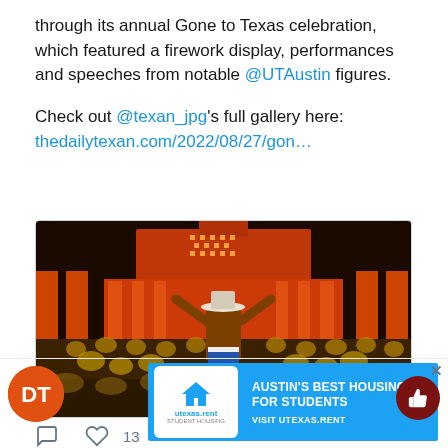through its annual Gone to Texas celebration, which featured a firework display, performances and speeches from notable @UTAustin figures.

Check out @texan_jpg's full gallery here: thedailytexan.com/2022/08/27/gon…
[Figure (photo): A drum major in a cowboy hat and burnt orange shirt conducts the UT Austin Longhorn Band in front of the illuminated UT Tower at night during the Gone to Texas celebration.]
13 (likes)
[Figure (logo): The Daily Texan DT orange circular logo on a white background]
AUSTIN'S BEST HOUSING FOR STUDENTS VISIT UTEXAS.RENT (utexas.rent Student Housing advertisement banner)